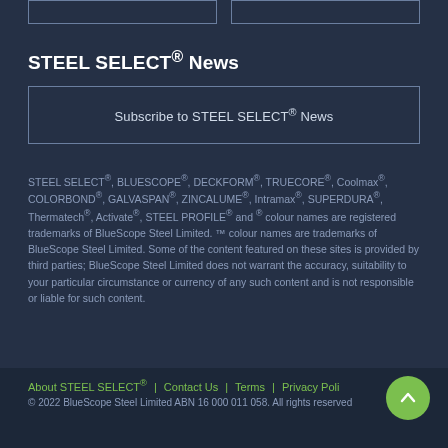STEEL SELECT® News
[Figure (other): Subscribe to STEEL SELECT® News button/box with border]
STEEL SELECT®, BLUESCOPE®, DECKFORM®, TRUECORE®, Coolmax®, COLORBOND®, GALVASPAN®, ZINCALUME®, Intramax®, SUPERDURA®, Thermatech®, Activate®, STEEL PROFILE® and ® colour names are registered trademarks of BlueScope Steel Limited. ™ colour names are trademarks of BlueScope Steel Limited. Some of the content featured on these sites is provided by third parties; BlueScope Steel Limited does not warrant the accuracy, suitability to your particular circumstance or currency of any such content and is not responsible or liable for such content.
About STEEL SELECT® | Contact Us | Terms | Privacy Poli… © 2022 BlueScope Steel Limited ABN 16 000 011 058. All rights reserved